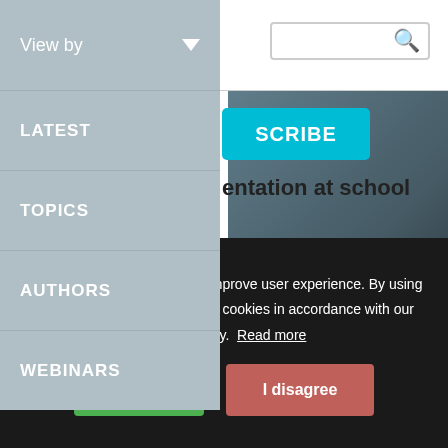View by
LATEST
TOPICS
AUTHORS
WEBINARS
SUBSCRIBE
entation at school
This website uses cookies to improve user experience. By using our website you consent to all cookies in accordance with our Cookie Policy.  Read more
I agree
I disagree